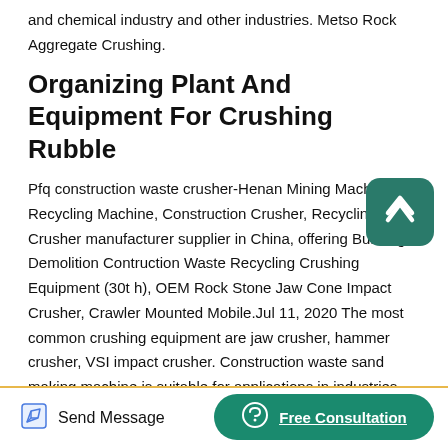and chemical industry and other industries. Metso Rock Aggregate Crushing.
Organizing Plant And Equipment For Crushing Rubble
Pfq construction waste crusher-Henan Mining Machinery . Recycling Machine, Construction Crusher, Recycling Crusher manufacturer supplier in China, offering Building Demolition Contruction Waste Recycling Crushing Equipment (30t h), OEM Rock Stone Jaw Cone Impact Crusher, Crawler Mounted Mobile.Jul 11, 2020 The most common crushing equipment are jaw crusher, hammer crusher, VSI impact crusher. Construction waste sand making machine is suitable for applications in industries such as hydropower, building materials, highways, and
[Figure (other): Scroll-to-top button: rounded square teal button with upward chevron arrow icon]
Send Message
Free Consultation